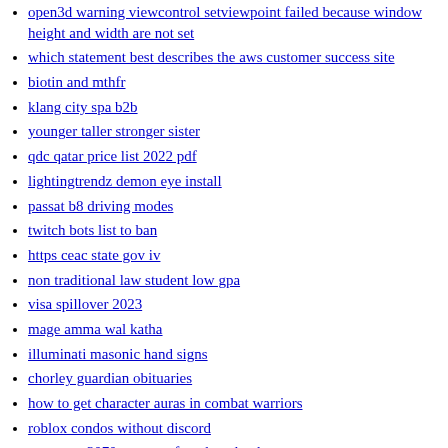open3d warning viewcontrol setviewpoint failed because window height and width are not set
which statement best describes the aws customer success site
biotin and mthfr
klang city spa b2b
younger taller stronger sister
qdc qatar price list 2022 pdf
lightingtrendz demon eye install
passat b8 driving modes
twitch bots list to ban
https ceac state gov iv
non traditional law student low gpa
visa spillover 2023
mage amma wal katha
illuminati masonic hand signs
chorley guardian obituaries
how to get character auras in combat warriors
roblox condos without discord
canon mg3070s resetter free download
hdhub4u mba
aeldari codex 2022 pdf
documentation instructure login canvas
zsr small pistol primers
lorelei and dorothy
modified food starch gatorade